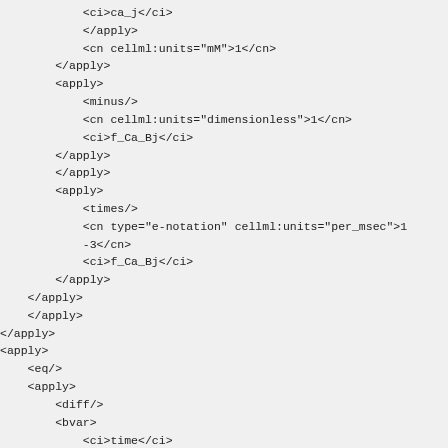XML/CellML code snippet showing mathematical markup with apply, cn, ci, eq, diff, bvar elements